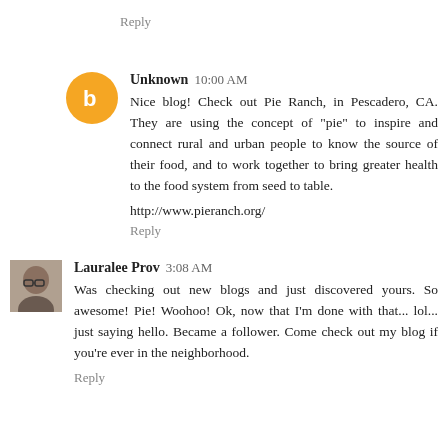Reply
[Figure (photo): Orange circle avatar with Blogger 'B' icon]
Unknown  10:00 AM
Nice blog! Check out Pie Ranch, in Pescadero, CA. They are using the concept of "pie" to inspire and connect rural and urban people to know the source of their food, and to work together to bring greater health to the food system from seed to table.
http://www.pieranch.org/
Reply
[Figure (photo): Small profile photo of Lauralee Prov, a woman with glasses]
Lauralee Prov  3:08 AM
Was checking out new blogs and just discovered yours. So awesome! Pie! Woohoo! Ok, now that I'm done with that... lol... just saying hello. Became a follower. Come check out my blog if you're ever in the neighborhood.
Reply